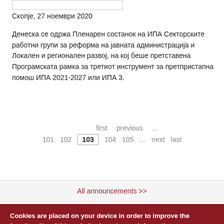Скопје, 27 ноември 2020
Денеска се одржа Пленарен состанок на ИПА Секторските работни групи за реформа на јавната администрација и Локален и регионален развој, на кој беше претставена Програмската рамка за третиот инструмент за претпристапна помош ИПА 2021-2027 или ИПА 3.
first  previous  ...  101  102  103  104  105  ...  next  last
All announcements >>
Cookies are placed on your device in order to improve the functionality of this website. I need more information.